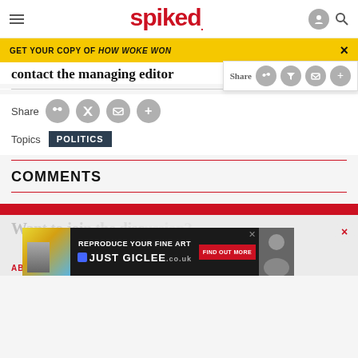spiked
GET YOUR COPY OF HOW WOKE WON
contact the managing editor
Share
Topics  POLITICS
COMMENTS
[Figure (screenshot): Advertisement banner: REPRODUCE YOUR FINE ART JUST GICLEE.co.uk with FIND OUT MORE button]
ABOUT